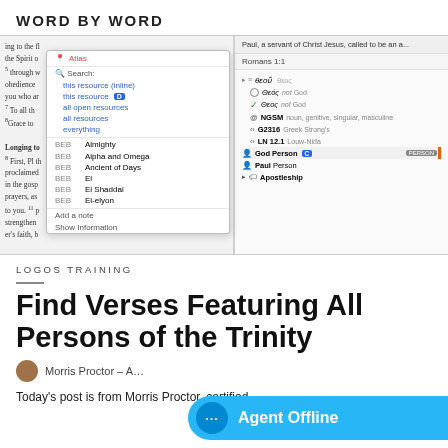WORD BY WORD
[Figure (screenshot): A screenshot of the Logos Bible software showing a Bible text panel with a context dropdown menu listing search options and BEB terms (Almighty, Alpha and Omega, Ancient of Days, El, El Shaddai, El-elyon), alongside a right panel showing Romans 1:1 with Greek word analysis including θεοῦ entries, NGSM designation, G2316 Greek Strong's, LN 12.1 Louw-Nida, God Person badge, Paul Person, and Apostleship.]
LOGOS TRAINING
Find Verses Featuring All Persons of the Trinity
Morris Proctor – A...
Today's post is from Morris Proctor, certified